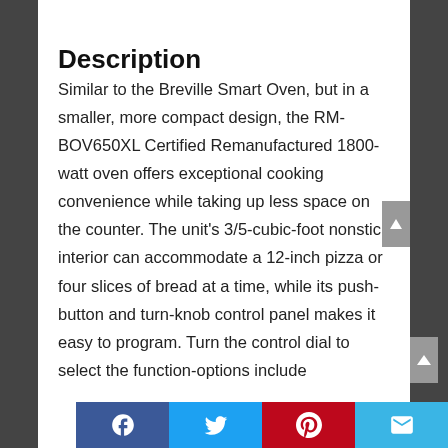Description
Similar to the Breville Smart Oven, but in a smaller, more compact design, the RM-BOV650XL Certified Remanufactured 1800-watt oven offers exceptional cooking convenience while taking up less space on the counter. The unit’s 3/5-cubic-foot nonstick interior can accommodate a 12-inch pizza or four slices of bread at a time, while its push-button and turn-knob control panel makes it easy to program. Turn the control dial to select the function-options include